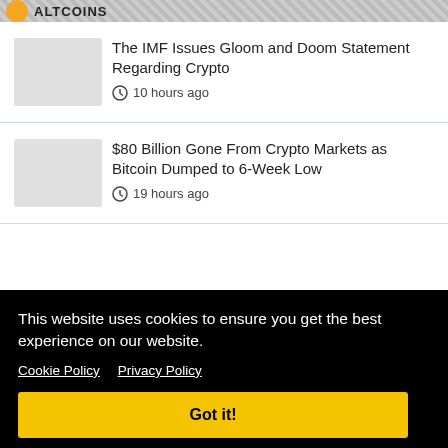ALTCOINS
The IMF Issues Gloom and Doom Statement Regarding Crypto
10 hours ago
$80 Billion Gone From Crypto Markets as Bitcoin Dumped to 6-Week Low
19 hours ago
This website uses cookies to ensure you get the best experience on our website. Cookie Policy  Privacy Policy
Got it!
WEWE Global Is Offering a Complex